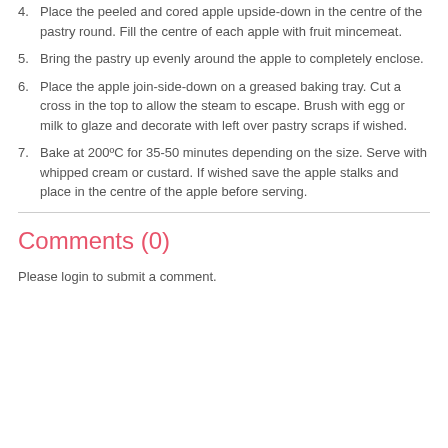4. Place the peeled and cored apple upside-down in the centre of the pastry round. Fill the centre of each apple with fruit mincemeat.
5. Bring the pastry up evenly around the apple to completely enclose.
6. Place the apple join-side-down on a greased baking tray. Cut a cross in the top to allow the steam to escape. Brush with egg or milk to glaze and decorate with left over pastry scraps if wished.
7. Bake at 200ºC for 35-50 minutes depending on the size. Serve with whipped cream or custard. If wished save the apple stalks and place in the centre of the apple before serving.
Comments (0)
Please login to submit a comment.